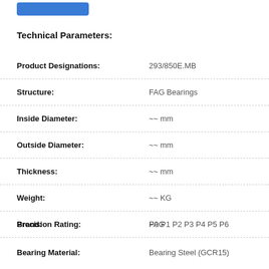[Figure (other): Blue button/banner at top of page]
Technical Parameters:
| Parameter | Value |
| --- | --- |
| Product Designations: | 293/850E.MB |
| Structure: | FAG Bearings |
| Inside Diameter: | ~~ mm |
| Outside Diameter: | ~~ mm |
| Thickness: | ~~ mm |
| Weight: | ~~ KG |
| Brand: | FAG |
| Precision Rating: | P0 P1 P2 P3 P4 P5 P6 |
| Bearing Material: | Bearing Steel (GCR15) |